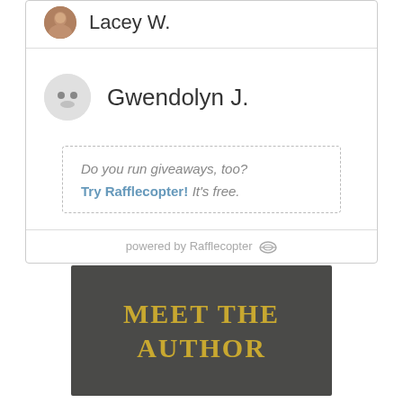[Figure (illustration): User avatar for Lacey W. — small circular profile photo of a person]
Lacey W.
[Figure (illustration): Generic placeholder avatar for Gwendolyn J. — grey circle with two dark dots for eyes]
Gwendolyn J.
Do you run giveaways, too? Try Rafflecopter! It's free.
powered by Rafflecopter
[Figure (illustration): Dark grey banner image with gold serif text reading MEET THE AUTHOR]